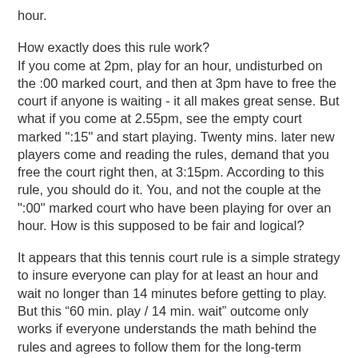hour.
How exactly does this rule work?
If you come at 2pm, play for an hour, undisturbed on the :00 marked court, and then at 3pm have to free the court if anyone is waiting - it all makes great sense. But what if you come at 2.55pm, see the empty court marked ":15" and start playing. Twenty mins. later new players come and reading the rules, demand that you free the court right then, at 3:15pm. According to this rule, you should do it. You, and not the couple at the ":00" marked court who have been playing for over an hour. How is this supposed to be fair and logical?
It appears that this tennis court rule is a simple strategy to insure everyone can play for at least an hour and wait no longer than 14 minutes before getting to play. But this “60 min. play / 14 min. wait” outcome only works if everyone understands the math behind the rules and agrees to follow them for the long-term benefit, despite some short-term absurdity. For this “60 min. play /14 min. wait” result to be achieved, newcomers must go to the court corresponding to the next 15 minute mark.